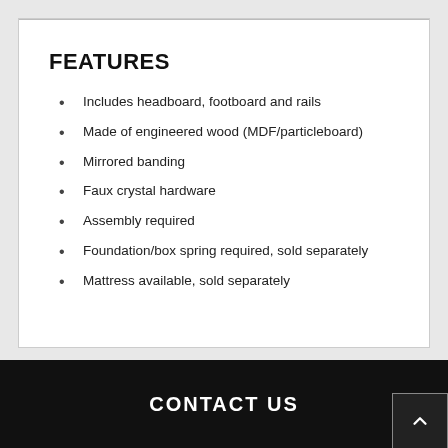FEATURES
Includes headboard, footboard and rails
Made of engineered wood (MDF/particleboard)
Mirrored banding
Faux crystal hardware
Assembly required
Foundation/box spring required, sold separately
Mattress available, sold separately
CONTACT US